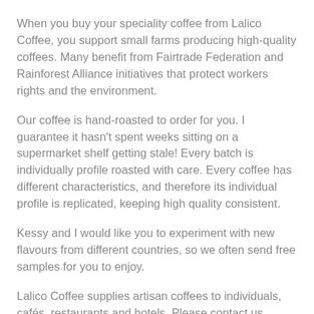When you buy your speciality coffee from Lalico Coffee, you support small farms producing high-quality coffees. Many benefit from Fairtrade Federation and Rainforest Alliance initiatives that protect workers rights and the environment.
Our coffee is hand-roasted to order for you. I guarantee it hasn't spent weeks sitting on a supermarket shelf getting stale! Every batch is individually profile roasted with care. Every coffee has different characteristics, and therefore its individual profile is replicated, keeping high quality consistent.
Kessy and I would like you to experiment with new flavours from different countries, so we often send free samples for you to enjoy.
Lalico Coffee supplies artisan coffees to individuals, cafés, restaurants and hotels. Please contact us directly for our best quantity discount prices.